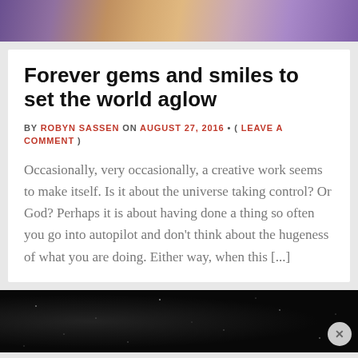[Figure (photo): Top strip showing a colorful photo of people in purple/orange clothing]
Forever gems and smiles to set the world aglow
BY ROBYN SASSEN ON AUGUST 27, 2016 • ( LEAVE A COMMENT )
Occasionally, very occasionally, a creative work seems to make itself. Is it about the universe taking control? Or God? Perhaps it is about having done a thing so often you go into autopilot and don't think about the hugeness of what you are doing. Either way, when this [...]
[Figure (photo): Dark banner advertisement with star/space background]
Advertisements
[Figure (infographic): WordPress advertisement: Opinions. We all have them! with WordPress logo and secondary logo]